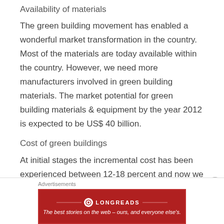Availability of materials
The green building movement has enabled a wonderful market transformation in the country. Most of the materials are today available within the country. However, we need more manufacturers involved in green building materials. The market potential for green building materials & equipment by the year 2012 is expected to be US$ 40 billion.
Cost of green buildings
At initial stages the incremental cost has been experienced between 12-18 percent and now we can observe that the incremental cost has been reduced to 5-8 per cent. Further, we are aiming at green buildings
Advertisements
[Figure (other): Longreads advertisement banner: red background with Longreads logo and tagline 'The best stories on the web — ours, and everyone else's.']